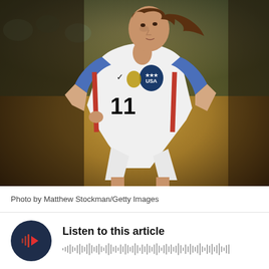[Figure (photo): A female soccer player wearing a white USA jersey with number 11 and blue sleeves, with a Nike logo and USA crest, running on a field with a blurred background crowd.]
Photo by Matthew Stockman/Getty Images
[Figure (infographic): Audio player widget with a dark circular play button featuring a red/orange play icon, text 'Listen to this article', and a grey audio waveform visualization below.]